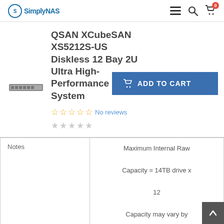SimplyNAS
QSAN XCubeSAN XS5212S-US Diskless 12 Bay 2U Ultra High-Performance SAN System
☆☆☆☆☆ No reviews
★★★★★ (gray stars)
[Figure (screenshot): Add to Cart button with shopping cart icon]
[Figure (photo): Small product image of a 2U rack-mount server unit]
| Notes |  |
| --- | --- |
| Notes | Maximum Internal Raw

Capacity = 14TB drive x

12

Capacity may vary by

RAID types |